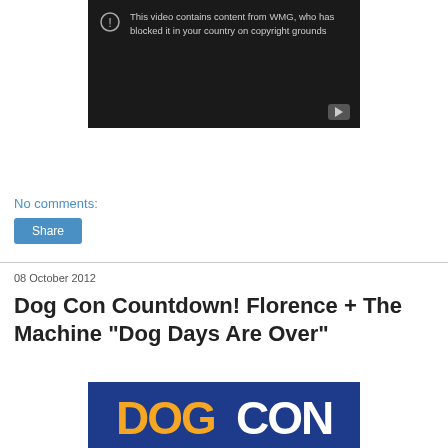[Figure (screenshot): YouTube video blocked message: 'This video contains content from WMG, who has blocked it in your country on copyright grounds' with a warning icon and YouTube play button]
No comments:
Share
08 October 2012
Dog Con Countdown! Florence + The Machine "Dog Days Are Over"
[Figure (logo): DogCon logo with orange and white text on blue background]